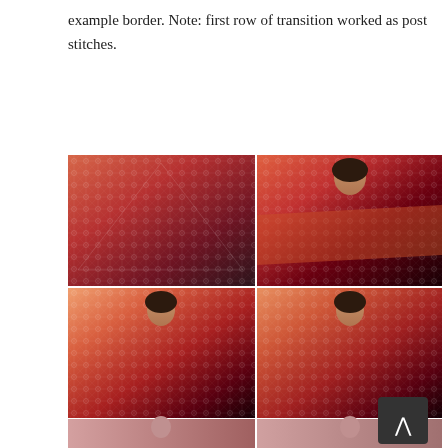example border. Note: first row of transition worked as post stitches.
[Figure (photo): Four-photo grid showing a red-orange-to-dark-purple gradient lace crochet shawl: top-left shows the shawl laid flat against white background, top-right shows a woman holding the shawl open, bottom-left shows a woman wearing the shawl from front, bottom-right shows another view of the shawl being worn. A navigation button (up arrow) appears in the bottom-right area.]